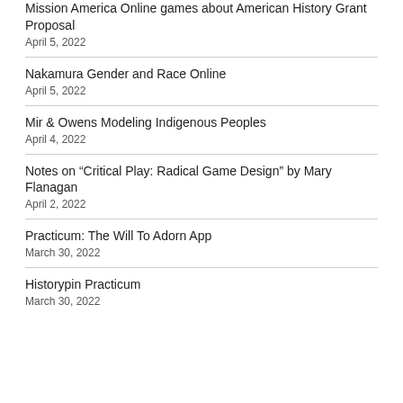Mission America Online games about American History Grant Proposal
April 5, 2022
Nakamura Gender and Race Online
April 5, 2022
Mir & Owens Modeling Indigenous Peoples
April 4, 2022
Notes on “Critical Play: Radical Game Design” by Mary Flanagan
April 2, 2022
Practicum: The Will To Adorn App
March 30, 2022
Historypin Practicum
March 30, 2022